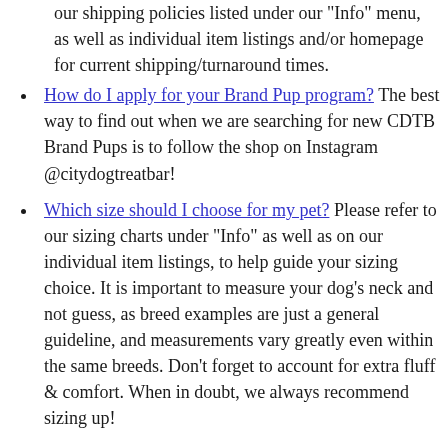Please also refer to our shipping policies listed under our "Info" menu, as well as individual item listings and/or homepage for current shipping/turnaround times.
How do I apply for your Brand Pup program? The best way to find out when we are searching for new CDTB Brand Pups is to follow the shop on Instagram @citydogtreatbar!
Which size should I choose for my pet? Please refer to our sizing charts under "Info" as well as on our individual item listings, to help guide your sizing choice. It is important to measure your dog's neck and not guess, as breed examples are just a general guideline, and measurements vary greatly even within the same breeds. Don't forget to account for extra fluff & comfort. When in doubt, we always recommend sizing up!